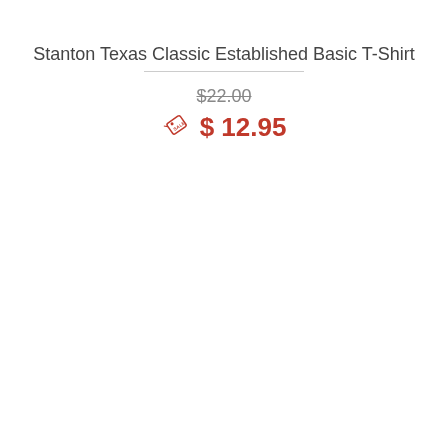Stanton Texas Classic Established Basic T-Shirt
$22.00 (original price, strikethrough)
$ 12.95 (sale price)